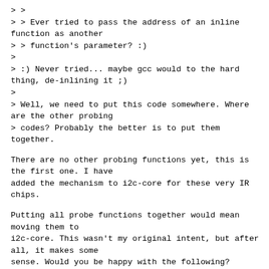> >
> > Ever tried to pass the address of an inline function as another
> > function's parameter? :)
>
> :) Never tried... maybe gcc would to the hard thing, de-inlining it ;)
>
> Well, we need to put this code somewhere. Where are the other probing
> codes? Probably the better is to put them together.
There are no other probing functions yet, this is the first one. I have
added the mechanism to i2c-core for these very IR chips.
Putting all probe functions together would mean moving them to
i2c-core. This wasn't my original intent, but after all, it makes some
sense. Would you be happy with the following?